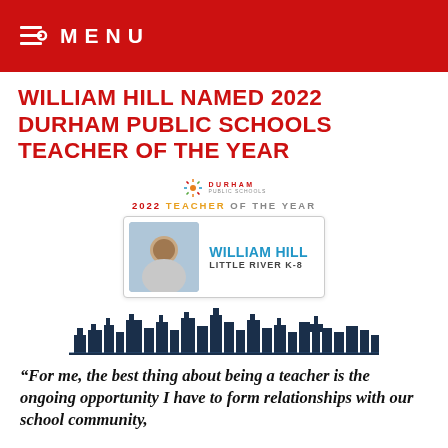MENU
WILLIAM HILL NAMED 2022 DURHAM PUBLIC SCHOOLS TEACHER OF THE YEAR
[Figure (infographic): Award graphic showing Durham Public Schools 2022 Teacher of the Year: William Hill, Little River K-8. Includes Durham logo, award text, photo of William Hill, and a Durham city skyline silhouette.]
“For me, the best thing about being a teacher is the ongoing opportunity I have to form relationships with our school community,